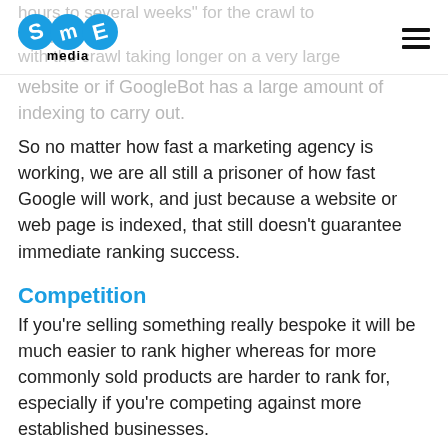SME media logo and navigation
website or if GoogleBot has a large amount of indexing to carry out.
So no matter how fast a marketing agency is working, we are all still a prisoner of how fast Google will work, and just because a website or web page is indexed, that still doesn't guarantee immediate ranking success.
Competition
If you're selling something really bespoke it will be much easier to rank higher whereas for more commonly sold products are harder to rank for, especially if you're competing against more established businesses.
Location will also play a part in how much competition you have. For example, if someone searches 'Chinese